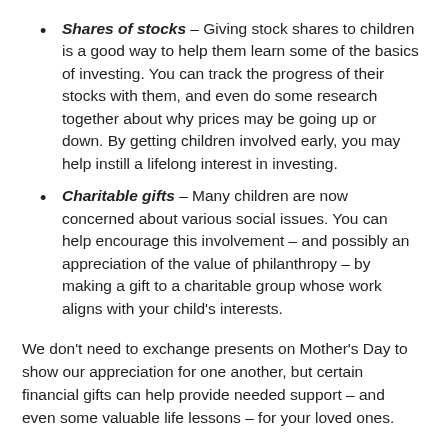Shares of stocks – Giving stock shares to children is a good way to help them learn some of the basics of investing. You can track the progress of their stocks with them, and even do some research together about why prices may be going up or down. By getting children involved early, you may help instill a lifelong interest in investing.
Charitable gifts – Many children are now concerned about various social issues. You can help encourage this involvement – and possibly an appreciation of the value of philanthropy – by making a gift to a charitable group whose work aligns with your child's interests.
We don't need to exchange presents on Mother's Day to show our appreciation for one another, but certain financial gifts can help provide needed support – and even some valuable life lessons – for your loved ones.